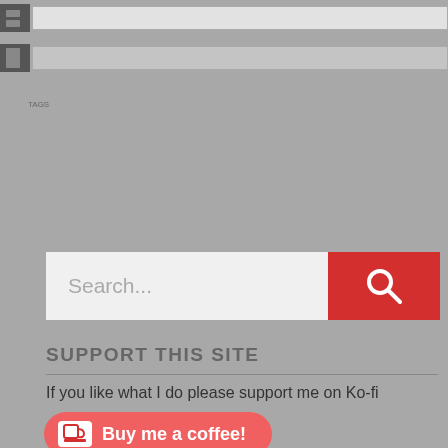[Figure (screenshot): Top navigation/search bars with film-strip style left edge icons]
Search...
SUPPORT THIS SITE
If you like what I do please support me on Ko-fi
[Figure (illustration): Ko-fi button with coffee cup icon and text 'Buy me a coffee!']
SOCIAL LINKS
[Figure (illustration): Row of social media icons: Facebook, Twitter, Pinterest, Tumblr, Zettelkasten]